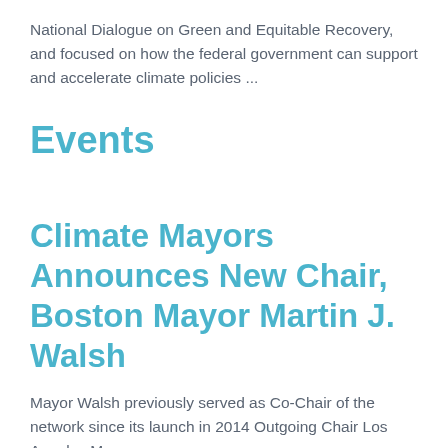National Dialogue on Green and Equitable Recovery, and focused on how the federal government can support and accelerate climate policies ...
Events
Climate Mayors Announces New Chair, Boston Mayor Martin J. Walsh
Mayor Walsh previously served as Co-Chair of the network since its launch in 2014 Outgoing Chair Los Angeles Mayor